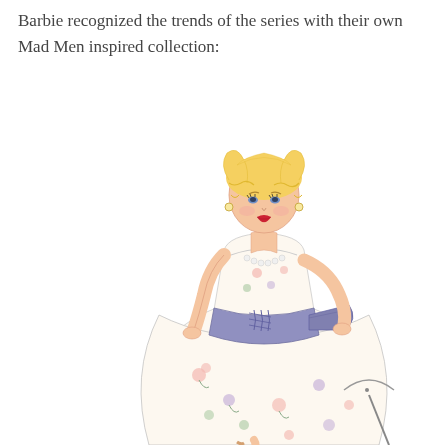Barbie recognized the trends of the series with their own Mad Men inspired collection:
[Figure (illustration): Fashion illustration of a Barbie doll in a 1960s Mad Men inspired outfit: a floral print full-skirted dress with a lavender/blue sash/waistband, pearl necklace, red lips, and blonde wavy hair.]